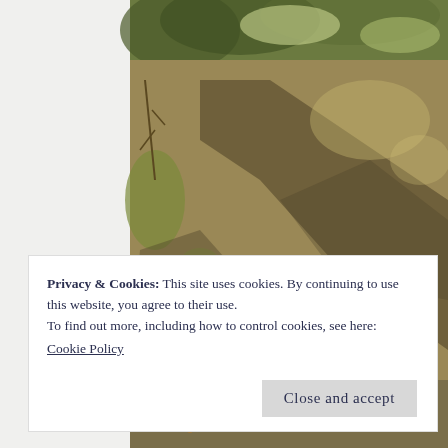[Figure (photo): Outdoor photo of a dry dirt trail or path winding through sparse grass, fallen leaves, and bare shrubs, taken in what appears to be autumn or early spring. Warm sunlight casts shadows across the ground. A narrow unpaved track is visible curving into the background among trees.]
Privacy & Cookies: This site uses cookies. By continuing to use this website, you agree to their use.
To find out more, including how to control cookies, see here:
Cookie Policy
Close and accept